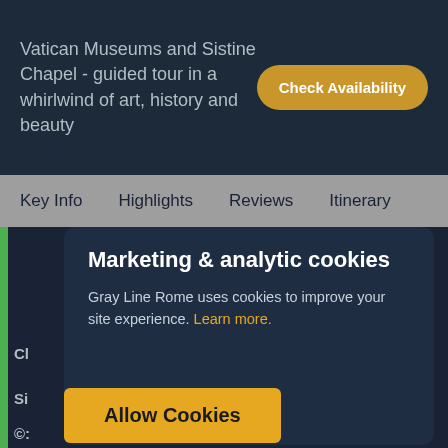Vatican Museums and Sistine Chapel - guided tour in a whirlwind of art, history and beauty
Check Availability
Key Info  Highlights  Reviews  Itinerary
[Figure (screenshot): Cookie consent modal overlay on a travel booking website. Shows a toggle switch (active/on, amber color), title 'Marketing & analytic cookies', descriptive text 'Gray Line Rome uses cookies to improve your site experience. Learn more.' in amber, and an 'Allow Cookies' amber button.]
Marketing & analytic cookies
Gray Line Rome uses cookies to improve your site experience. Learn more.
Allow Cookies